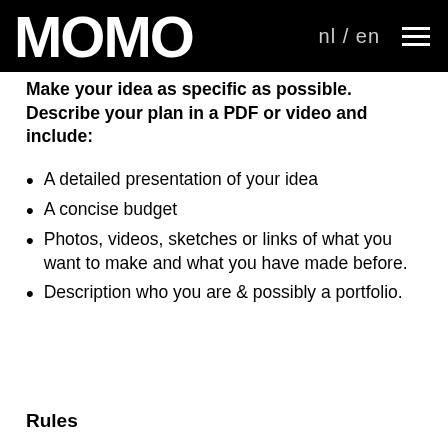MOMO  nl / en ≡
Make your idea as specific as possible. Describe your plan in a PDF or video and include:
A detailed presentation of your idea
A concise budget
Photos, videos, sketches or links of what you want to make and what you have made before.
Description who you are & possibly a portfolio.
Rules